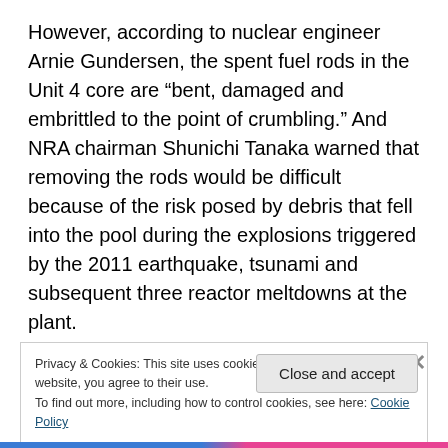However, according to nuclear engineer Arnie Gundersen, the spent fuel rods in the Unit 4 core are "bent, damaged and embrittled to the point of crumbling." And NRA chairman Shunichi Tanaka warned that removing the rods would be difficult because of the risk posed by debris that fell into the pool during the explosions triggered by the 2011 earthquake, tsunami and subsequent three reactor meltdowns at the plant.
“It’s a totally different operation than removing normal fuel rods from a spent fuel pool.” Tanaka said during the news
Privacy & Cookies: This site uses cookies. By continuing to use this website, you agree to their use.
To find out more, including how to control cookies, see here: Cookie Policy